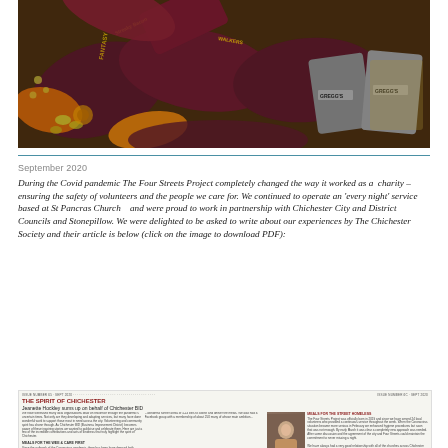[Figure (photo): Close-up photo of various crisp/snack packets in dark maroon and orange packaging (Walkers crisps branding visible), mixed with Greggs branded grey paper bags. Items piled together showing donated food supplies.]
September 2020
During the Covid pandemic The Four Streets Project completely changed the way it worked as a  charity – ensuring the safety of volunteers and the people we care for. We continued to operate an 'every night' service based at St Pancras Church   and were proud to work in partnership with Chichester City and District Councils and Stonepillow. We were delighted to be asked to write about our experiences by The Chichester Society and their article is below (click on the image to download PDF):
[Figure (screenshot): Thumbnail image of a Chichester Society newsletter page. Shows 'THE SPIRIT OF CHICHESTER' headline in red, with subheading 'Jeanette Hockley sums up on behalf of Chichester BID', multiple columns of small text about community response during Covid pandemic, a small photo of people, and a right column section headed 'MEALS FOR THE STREET HOMELESS' about The Four Streets Project.]